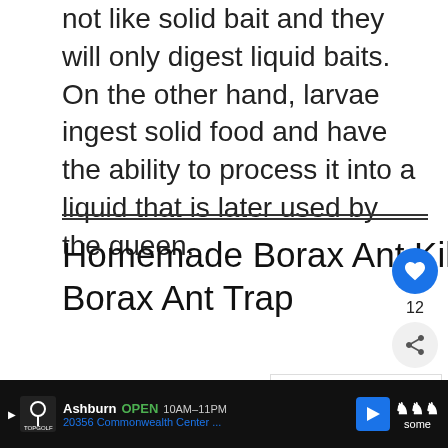not like solid bait and they will only digest liquid baits. On the other hand, larvae ingest solid food and have the ability to process it into a liquid that is later used by the queen.
Homemade Borax Ant Killer Recipe | Borax Ant Trap
Borax ant killer is a cheap and e… method for getting rid of ant colonies in
[Figure (other): WHAT'S NEXT arrow widget showing 'How to Get Rid of Ants...' with thumbnail image]
[Figure (other): TopGolf advertisement banner: Ashburn OPEN 10AM-11PM, 20356 Commonwealth Center...]